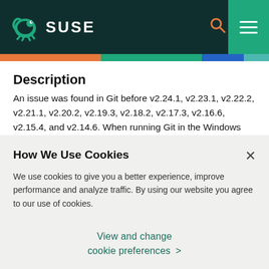SUSE
Description
An issue was found in Git before v2.24.1, v2.23.1, v2.22.2, v2.21.1, v2.20.2, v2.19.3, v2.18.2, v2.17.3, v2.16.6, v2.15.4, and v2.14.6. When running Git in the Windows Subsystem for Linux (also known as "WSL") while accessing a working directory on
How We Use Cookies
We use cookies to give you a better experience, improve performance and analyze traffic. By using our website you agree to our use of cookies.
View and change cookie preferences >